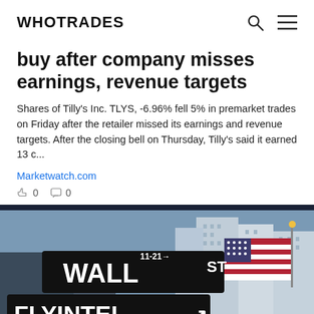WHOTRADES
buy after company misses earnings, revenue targets
Shares of Tilly's Inc. TLYS, -6.96% fell 5% in premarket trades on Friday after the retailer missed its earnings and revenue targets. After the closing bell on Thursday, Tilly's said it earned 13 c...
Marketwatch.com
0   0
[Figure (photo): Street signs showing WALL ST and FLY INTEL with an American flag and buildings in the background]
TLYS 6.82  -6.96%